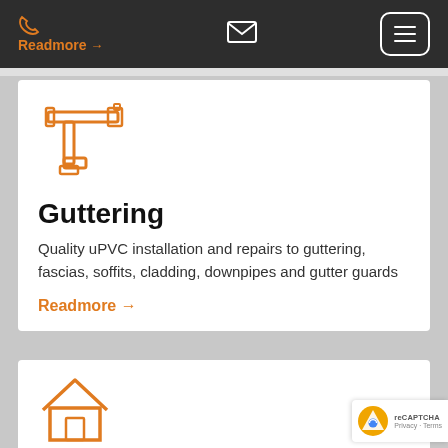Readmore →
[Figure (illustration): Orange pipe/guttering icon — stylized U-shaped pipe with connectors]
Guttering
Quality uPVC installation and repairs to guttering, fascias, soffits, cladding, downpipes and gutter guards
Readmore →
[Figure (illustration): Orange house/home icon — outline of a house]